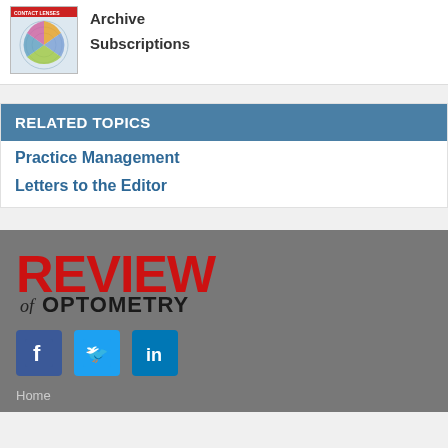[Figure (illustration): Magazine cover thumbnail showing circular diagram with colored sections, contact lenses theme]
Archive
Subscriptions
RELATED TOPICS
Practice Management
Letters to the Editor
[Figure (logo): Review of Optometry logo in red and dark text]
[Figure (illustration): Social media icons: Facebook, Twitter, LinkedIn]
Home